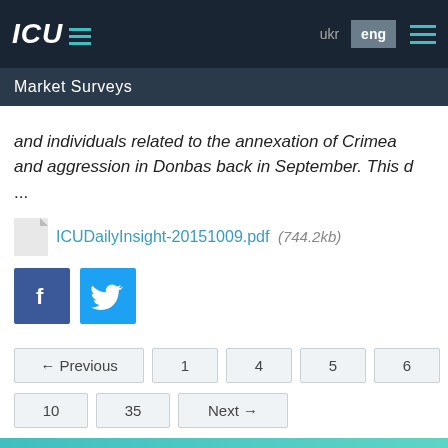ICU — Market Surveys
and individuals related to the annexation of Crimea and aggression in Donbas back in September. This d ...
ICUDailyInsight-20151009.pdf  (744.2kb)
[Figure (other): Facebook and Twitter share buttons]
← Previous  1  4  5  6  7  8  9  10  35  Next →